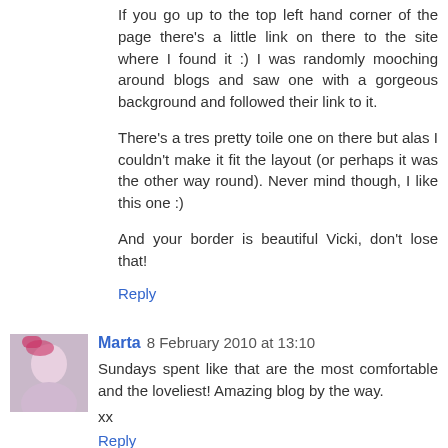If you go up to the top left hand corner of the page there's a little link on there to the site where I found it :) I was randomly mooching around blogs and saw one with a gorgeous background and followed their link to it.
There's a tres pretty toile one on there but alas I couldn't make it fit the layout (or perhaps it was the other way round). Never mind though, I like this one :)
And your border is beautiful Vicki, don't lose that!
Reply
Marta 8 February 2010 at 13:10
Sundays spent like that are the most comfortable and the loveliest! Amazing blog by the way.
xx
Reply
To leave a comment, click the button below to sign in with Google.